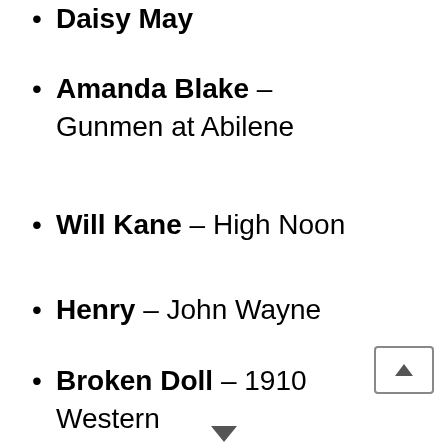Daisy May
Amanda Blake – Gunmen at Abilene
Will Kane – High Noon
Henry – John Wayne
Broken Doll – 1910 Western